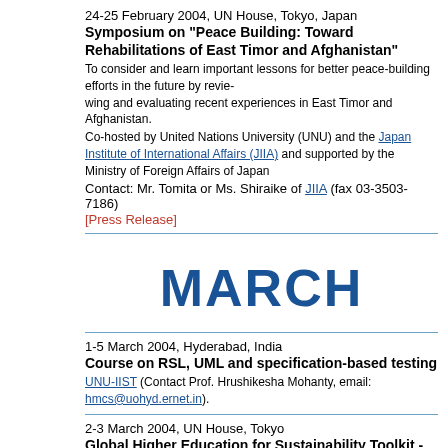24-25 February 2004, UN House, Tokyo, Japan
Symposium on "Peace Building: Toward Rehabilitations of East Timor and Afghanistan"
To consider and learn important lessons for better peace-building efforts in the future by reviewing and evaluating recent experiences in East Timor and Afghanistan.
Co-hosted by United Nations University (UNU) and the Japan Institute of International Affairs (JIIA) and supported by the Ministry of Foreign Affairs of Japan
Contact: Mr. Tomita or Ms. Shiraike of JIIA (fax 03-3503-7186)
[Press Release]
MARCH
1-5 March 2004, Hyderabad, India
Course on RSL, UML and specification-based testing
UNU-IIST (Contact Prof. Hrushikesha Mohanty, email: hmcs@uohyd.ernet.in).
2-3 March 2004, UN House, Tokyo
Global Higher Education for Sustainability Toolkit - Tokyo Consultation
UNU-IAS (Contact: Katsunori Suzuki, email: k_suzuki@ias.unu.edu or Zinaida Fadeeva, email: fadeeva@ias.unu.edu or Yuko Sato, email: y_sato@ias.unu.edu)
[ULSF Website]    [Press Release]
3 March 2004, UN House, Tokyo